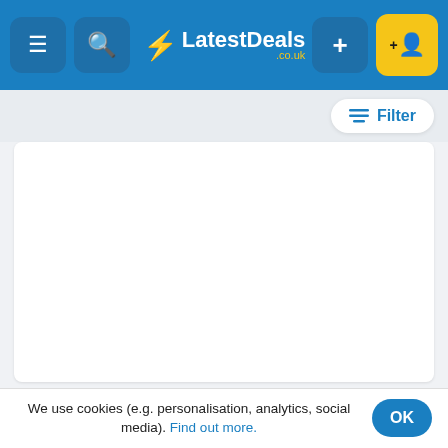LatestDeals.co.uk
Filter
[Figure (other): White content card placeholder area]
Bloo Power Active Gel - Only £10!
We use cookies (e.g. personalisation, analytics, social media). Find out more.